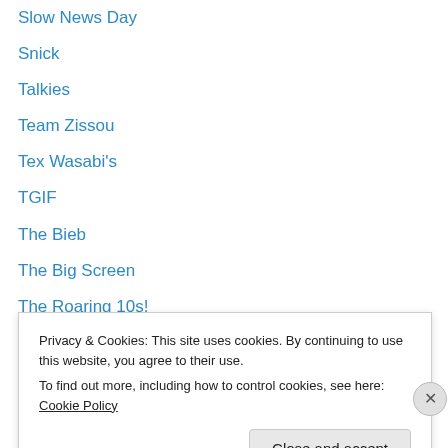Slow News Day
Snick
Talkies
Team Zissou
Tex Wasabi's
TGIF
The Bieb
The Big Screen
The Roaring 10s!
The Sixth Taste
The State
The Worst
Today in Today
Privacy & Cookies: This site uses cookies. By continuing to use this website, you agree to their use. To find out more, including how to control cookies, see here: Cookie Policy